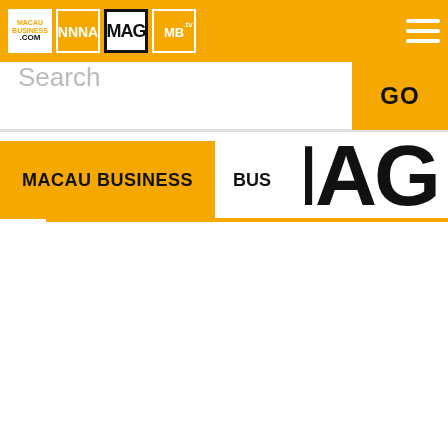Macau Business .COM | NNNA | MAG | MB.tv navigation bar
Search
GO
MACAU BUSINESS
BUS
MAG